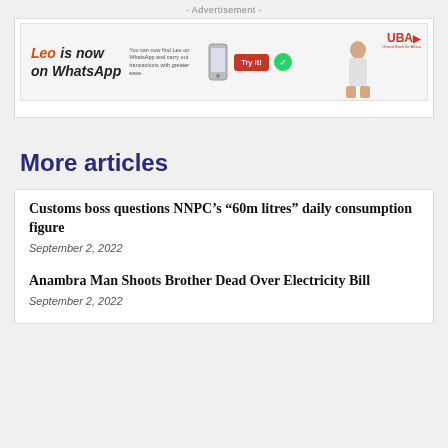- Advertisement -
[Figure (illustration): UBA Leo WhatsApp advertisement banner showing 'Leo is now on WhatsApp' with Try It button, WhatsApp icon, person graphic, and UBA logo]
More articles
Customs boss questions NNPC’s “60m litres” daily consumption figure
September 2, 2022
Anambra Man Shoots Brother Dead Over Electricity Bill
September 2, 2022